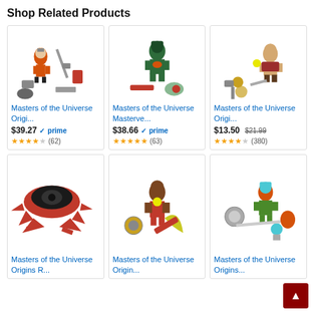Shop Related Products
[Figure (photo): Action figure toy - Masters of the Universe Origins, orange figure with accessories]
Masters of the Universe Origi...
$39.27 prime (62)
[Figure (photo): Action figure toy - Masters of the Universe Masterverse, green figure with accessories]
Masters of the Universe Masterve...
$38.66 prime (63)
[Figure (photo): Action figure toy - Masters of the Universe Origins, tan figure with accessories]
Masters of the Universe Origi...
$13.50 $21.99 (380)
[Figure (photo): Red vehicle/spaceship toy parts - Masters of the Universe Origins R...]
Masters of the Universe Origins R...
[Figure (photo): Action figure toy - Masters of the Universe Origins, dark-skinned figure with accessories]
Masters of the Universe Origin...
[Figure (photo): Action figure toy - Masters of the Universe Origins, orange/green figure with accessories]
Masters of the Universe Origins...